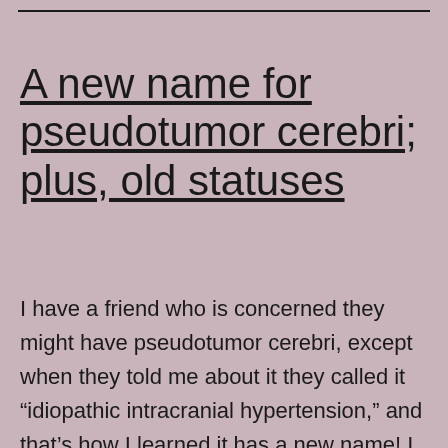A new name for pseudotumor cerebri; plus, old statuses
I have a friend who is concerned they might have pseudotumor cerebri, except when they told me about it they called it “idiopathic intracranial hypertension,” and that’s how I learned it has a new name! I suffered from this in 2010 and 2011 (and it possibly actually